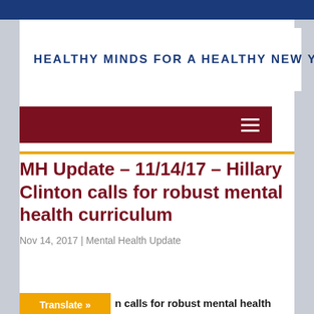[Figure (logo): Healthy Minds for a Healthy New York logo with New York State outline and text]
MH Update – 11/14/17 – Hillary Clinton calls for robust mental health curriculum
Nov 14, 2017 | Mental Health Update
Translate »  n calls for robust mental health